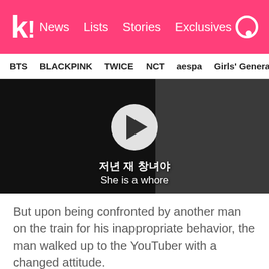K! News Lists Stories Exclusives
BTS   BLACKPINK   TWICE   NCT   aespa   Girls' Generation
[Figure (screenshot): Video player screenshot showing a dark subway/train scene with a play button, Korean subtitle text '저년 재 창녀야' and English translation 'She is a whore']
But upon being confronted by another man on the train for his inappropriate behavior, the man walked up to the YouTuber with a changed attitude.
Are you Taiwanese? I'm only asking